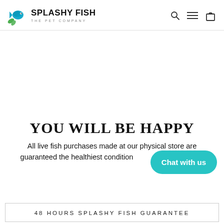SPLASHY FISH THE PET COMPANY
YOU WILL BE HAPPY
All live fish purchases made at our physical store are guaranteed the healthiest condition and complete satisfaction.
Chat with us
48 HOURS SPLASHY FISH GUARANTEE